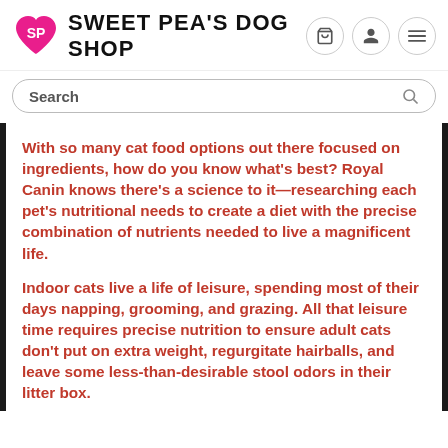SWEET PEA'S DOG SHOP
Search
With so many cat food options out there focused on ingredients, how do you know what's best? Royal Canin knows there's a science to it—researching each pet's nutritional needs to create a diet with the precise combination of nutrients needed to live a magnificent life.
Indoor cats live a life of leisure, spending most of their days napping, grooming, and grazing. All that leisure time requires precise nutrition to ensure adult cats don't put on extra weight, regurgitate hairballs, and leave some less-than-desirable stool odors in their litter box.